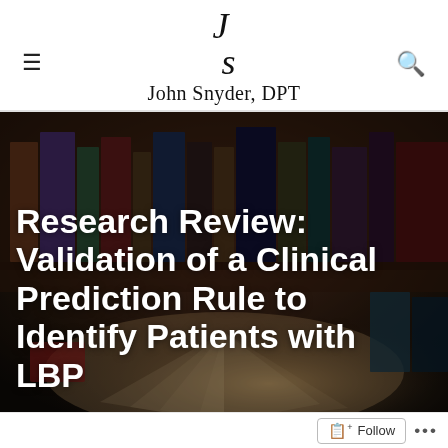JS
John Snyder, DPT
[Figure (photo): Blurred dark background showing bookshelves with books in warm tones, with an open book in the foreground being held/fanned, creating a bokeh library atmosphere]
Research Review: Validation of a Clinical Prediction Rule to Identify Patients with LBP
Follow ...